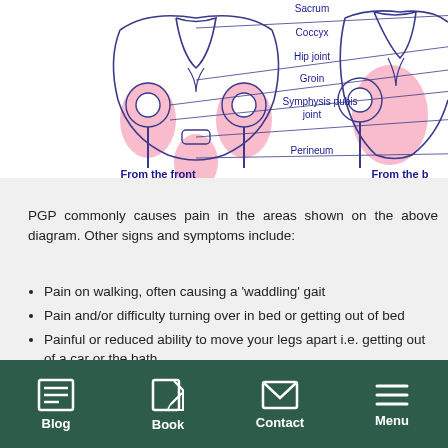[Figure (illustration): Medical illustration showing pelvic anatomy from the front and back views, with pink highlighted areas indicating pain regions. Labels include: Sacrum, Coccyx, Hip joint, Groin, Symphysis pubis joint, Perineum. Captions: 'From the front' and 'From the b[ack]'.]
PGP commonly causes pain in the areas shown on the above diagram. Other signs and symptoms include:
Pain on walking, often causing a 'waddling' gait
Pain and/or difficulty turning over in bed or getting out of bed
Painful or reduced ability to move your legs apart i.e. getting out of a car or the bath
Difficulty or pain when putting weight through one
Blog | Book | Contact | Menu